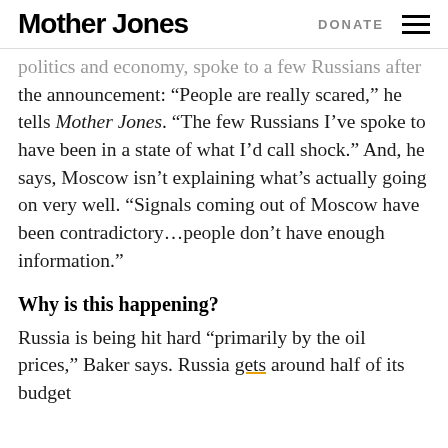Mother Jones  DONATE
politics and economy, spoke to a few Russians after the announcement: “People are really scared,” he tells Mother Jones. “The few Russians I’ve spoke to have been in a state of what I’d call shock.” And, he says, Moscow isn’t explaining what’s actually going on very well. “Signals coming out of Moscow have been contradictory…people don’t have enough information.”
Why is this happening?
Russia is being hit hard “primarily by the oil prices,” Baker says. Russia gets around half of its budget